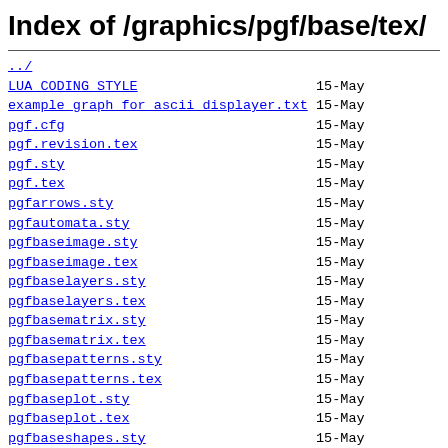Index of /graphics/pgf/base/tex/
../
LUA CODING STYLE   15-May
example graph for ascii displayer.txt   15-May
pgf.cfg   15-May
pgf.revision.tex   15-May
pgf.sty   15-May
pgf.tex   15-May
pgfarrows.sty   15-May
pgfautomata.sty   15-May
pgfbaseimage.sty   15-May
pgfbaseimage.tex   15-May
pgfbaselayers.sty   15-May
pgfbaselayers.tex   15-May
pgfbasematrix.sty   15-May
pgfbasematrix.tex   15-May
pgfbasepatterns.sty   15-May
pgfbasepatterns.tex   15-May
pgfbaseplot.sty   15-May
pgfbaseplot.tex   15-May
pgfbaseshapes.sty   15-May
pgfbaseshapes.tex   15-May
pgfbasesnakes.sty   15-May
pgfbasesnakes.tex   15-May
pgfcalendar.code.tex   15-May
pgfcalendar.sty   15-May